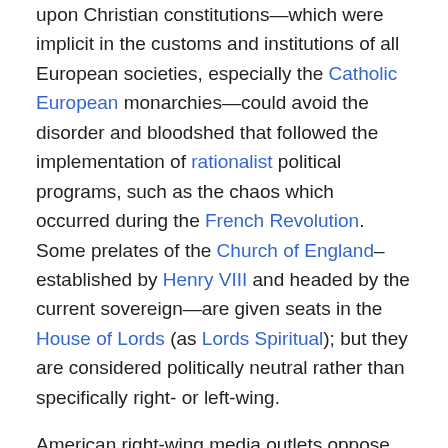upon Christian constitutions—which were implicit in the customs and institutions of all European societies, especially the Catholic European monarchies—could avoid the disorder and bloodshed that followed the implementation of rationalist political programs, such as the chaos which occurred during the French Revolution. Some prelates of the Church of England–established by Henry VIII and headed by the current sovereign—are given seats in the House of Lords (as Lords Spiritual); but they are considered politically neutral rather than specifically right- or left-wing.
American right-wing media outlets oppose sex outside marriage and same-sex marriage, and they sometimes reject scientific positions on evolution and other matters where science tends to disagree with the Bible.[41][42]
The term family values has been used by right-wing parties—such as the Republican Party in the United States, the Family First Party in Australia, the Conservative Party in the United Kingdom, and the Bharatiya Janata Party in India—to signify